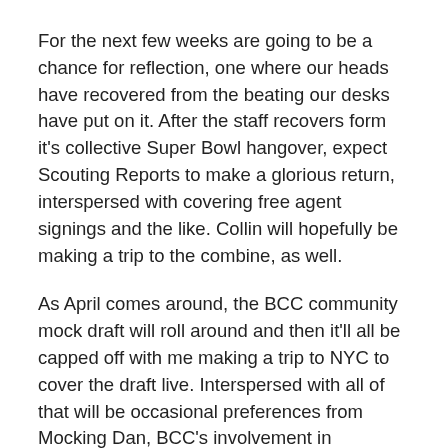For the next few weeks are going to be a chance for reflection, one where our heads have recovered from the beating our desks have put on it. After the staff recovers form it's collective Super Bowl hangover, expect Scouting Reports to make a glorious return, interspersed with covering free agent signings and the like. Collin will hopefully be making a trip to the combine, as well.
As April comes around, the BCC community mock draft will roll around and then it'll all be capped off with me making a trip to NYC to cover the draft live. Interspersed with all of that will be occasional preferences from Mocking Dan, BCC's involvement in numerous inter-blog mocks, and everything else Jaguar related.